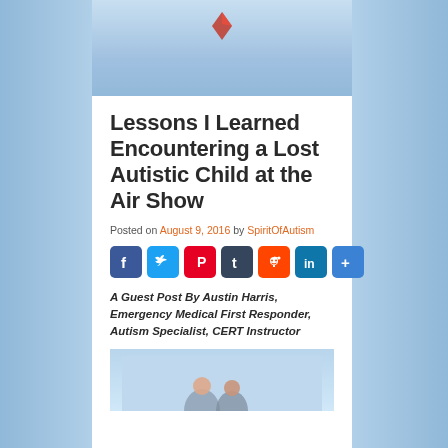[Figure (photo): Top portion of an air show photo showing kite/plane shapes in a blue sky]
Lessons I Learned Encountering a Lost Autistic Child at the Air Show
Posted on August 9, 2016 by SpiritOfAutism
[Figure (infographic): Social media sharing icons row: Facebook, Twitter, Pinterest, Tumblr, Reddit, LinkedIn, More]
A Guest Post By Austin Harris, Emergency Medical First Responder, Autism Specialist, CERT Instructor
[Figure (photo): Bottom portion of a photo showing people at the air show]